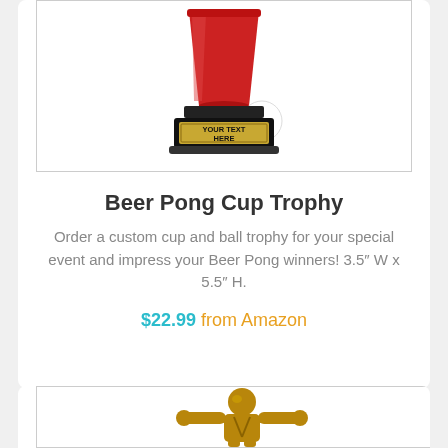[Figure (photo): Beer Pong Cup Trophy product image showing a red cup and white ping pong ball on a black base with gold plaque reading YOUR TEXT HERE]
Beer Pong Cup Trophy
Order a custom cup and ball trophy for your special event and impress your Beer Pong winners! 3.5″ W x 5.5″ H.
$22.99 from Amazon
[Figure (photo): Bottom trophy figure showing a gold figurine of a person flexing or tearing shirt]